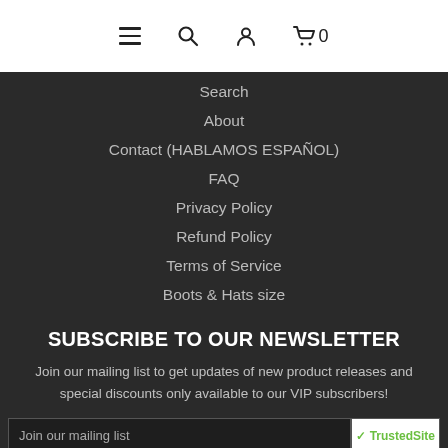Navigation bar with menu, search, account, and cart (0) icons
Search
About
Contact (HABLAMOS ESPAÑOL)
FAQ
Privacy Policy
Refund Policy
Terms of Service
Boots & Hats size
SUBSCRIBE TO OUR NEWSLETTER
Join our mailing list to get updates of new product releases and special discounts only available to our VIP subscribers!
Join our mailing list